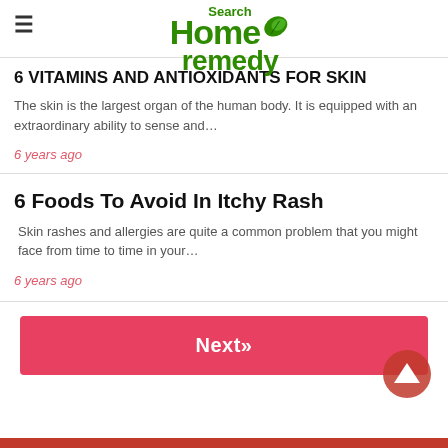Search Home remedy
6 VITAMINS AND ANTIOXIDANTS FOR SKIN
The skin is the largest organ of the human body. It is equipped with an extraordinary ability to sense and…
6 years ago
6 Foods To Avoid In Itchy Rash
Skin rashes and allergies are quite a common problem that you might face from time to time in your…
6 years ago
Next»